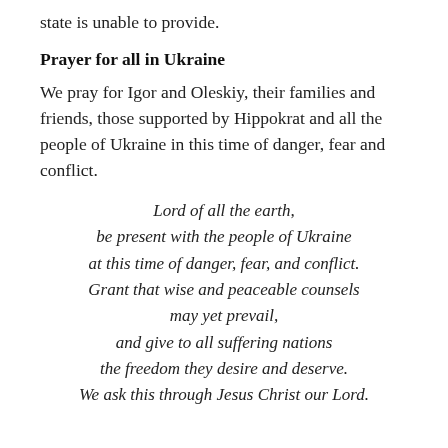state is unable to provide.
Prayer for all in Ukraine
We pray for Igor and Oleskiy, their families and friends, those supported by Hippokrat and all the people of Ukraine in this time of danger, fear and conflict.
Lord of all the earth,
be present with the people of Ukraine
at this time of danger, fear, and conflict.
Grant that wise and peaceable counsels
may yet prevail,
and give to all suffering nations
the freedom they desire and deserve.
We ask this through Jesus Christ our Lord.